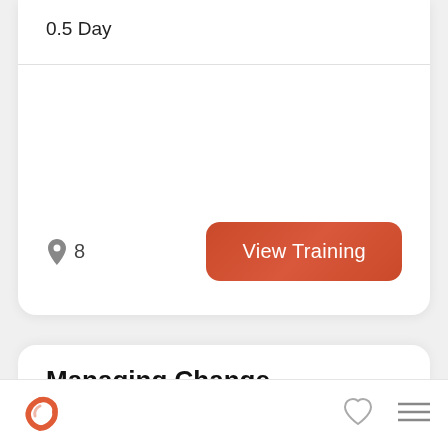0.5 Day
8
View Training
Managing Change
[Figure (logo): Cornerstone OnDemand logo - stylized orange/red C shape]
[Figure (other): Heart/favorite icon outline]
[Figure (other): Hamburger menu icon (three lines)]